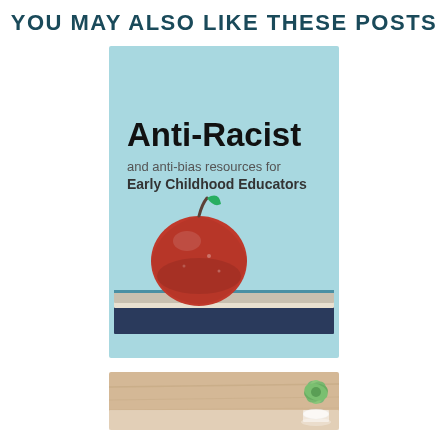YOU MAY ALSO LIKE THESE POSTS
[Figure (illustration): Book cover with light blue background showing 'Anti-Racist and anti-bias resources for Early Childhood Educators' text, with a red apple sitting on stacked books at the bottom]
[Figure (photo): Partial view of a wooden surface with a small succulent plant visible at the right edge]